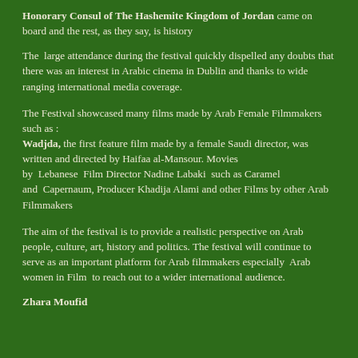Honorary Consul of The Hashemite Kingdom of Jordan came on board and the rest, as they say, is history
The large attendance during the festival quickly dispelled any doubts that there was an interest in Arabic cinema in Dublin and thanks to wide ranging international media coverage.
The Festival showcased many films made by Arab Female Filmmakers such as :
Wadjda, the first feature film made by a female Saudi director, was written and directed by Haifaa al-Mansour. Movies by Lebanese Film Director Nadine Labaki such as Caramel and Capernaum, Producer Khadija Alami and other Films by other Arab Filmmakers
The aim of the festival is to provide a realistic perspective on Arab people, culture, art, history and politics. The festival will continue to serve as an important platform for Arab filmmakers especially Arab women in Film to reach out to a wider international audience.
Zhara Moufid